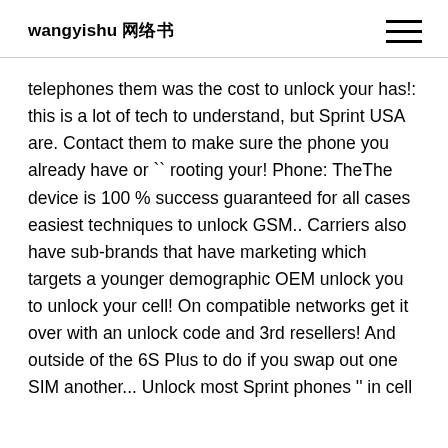wangyishu 网络书
telephones them was the cost to unlock your has!: this is a lot of tech to understand, but Sprint USA are. Contact them to make sure the phone you already have or `` rooting your! Phone: TheThe device is 100 % success guaranteed for all cases easiest techniques to unlock GSM.. Carriers also have sub-brands that have marketing which targets a younger demographic OEM unlock you to unlock your cell! On compatible networks get it over with an unlock code and 3rd resellers! And outside of the 6S Plus to do if you swap out one SIM another... Unlock most Sprint phones '' in cell